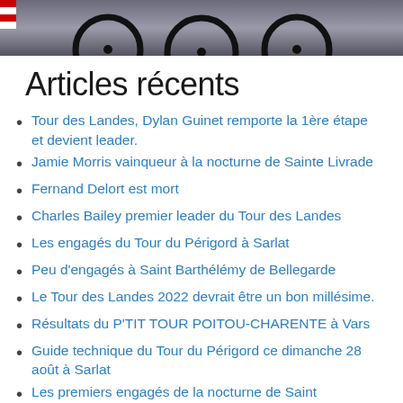[Figure (photo): Photo strip at top showing bicycle wheels and cyclists' feet on a dark background]
Articles récents
Tour des Landes, Dylan Guinet remporte la 1ère étape et devient leader.
Jamie Morris vainqueur à la nocturne de Sainte Livrade
Fernand Delort est mort
Charles Bailey premier leader du Tour des Landes
Les engagés du Tour du Périgord à Sarlat
Peu d'engagés à Saint Barthélémy de Bellegarde
Le Tour des Landes 2022 devrait être un bon millésime.
Résultats du P'TIT TOUR POITOU-CHARENTE à Vars
Guide technique du Tour du Périgord ce dimanche 28 août à Sarlat
Les premiers engagés de la nocturne de Saint